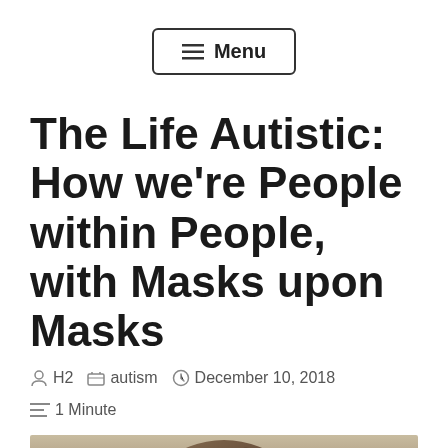≡ Menu
The Life Autistic: How we're People within People, with Masks upon Masks
H2   autism   December 10, 2018   1 Minute
[Figure (photo): Partial view of a person's head with messy hair, shown from behind/side, against a light background]